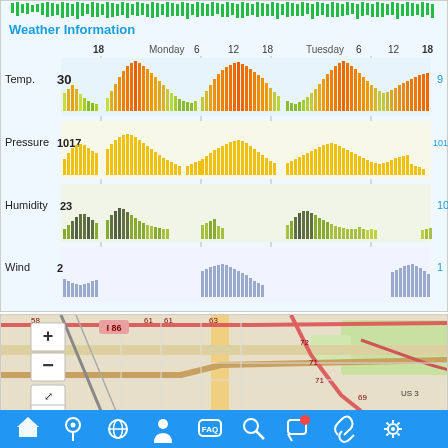[Figure (bar-chart): Multi-row weather bar chart showing temperature, pressure, humidity, and wind over Monday and Tuesday timeline]
[Figure (map): Street map showing road network with route 36 marker and zoom controls]
[Figure (screenshot): Mobile app bottom navigation bar with home, location, globe, person, FAQ, search, chat, link, and settings icons]